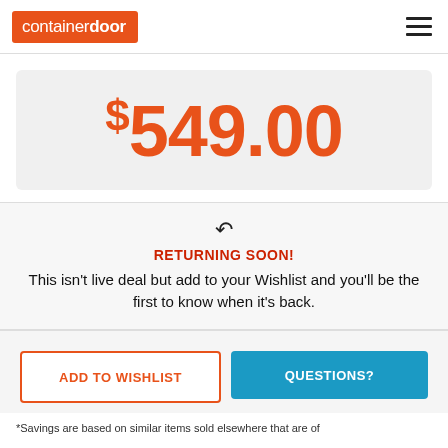containerdoor
$549.00
RETURNING SOON! This isn't live deal but add to your Wishlist and you'll be the first to know when it's back.
ADD TO WISHLIST
QUESTIONS?
*Savings are based on similar items sold elsewhere that are of